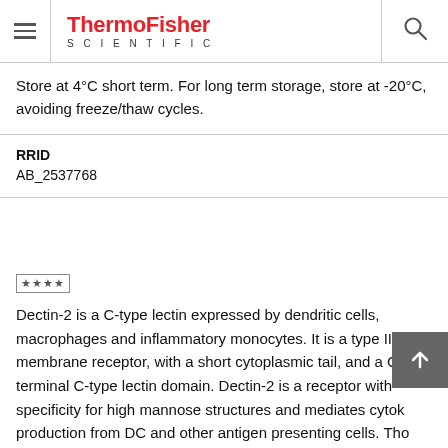ThermoFisher SCIENTIFIC
Store at 4°C short term. For long term storage, store at -20°C, avoiding freeze/thaw cycles.
RRID
AB_2537768
[Figure (other): Rating/review stars icon in a bordered box]
Dectin-2 is a C-type lectin expressed by dendritic cells, macrophages and inflammatory monocytes. It is a type II membrane receptor, with a short cytoplasmic tail, and a C-terminal C-type lectin domain. Dectin-2 is a receptor with specificity for high mannose structures and mediates cytok production from DC and other antigen presenting cells. Tho Dectin-2 has no obvious signaling motifs attached to CP tai,